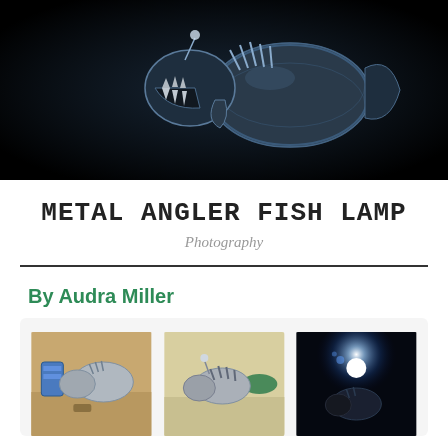[Figure (photo): Metal angler fish lamp sculpture photographed against a dark/black background, showing metallic fish with spiky fins and teeth]
METAL ANGLER FISH LAMP
Photography
By Audra Miller
[Figure (photo): Three photos of the metal angler fish lamp in various stages and lighting: (1) silver metal fish sculpture on workbench with blue can, (2) fish sculpture on light background outdoors, (3) fish lamp lit up in dark with bright light source]